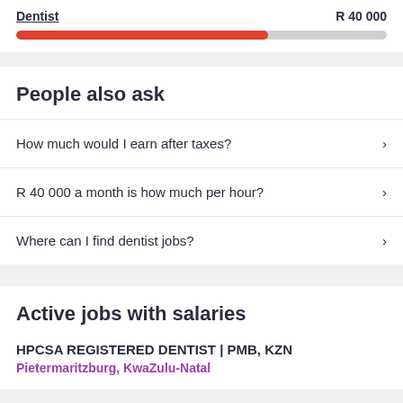Dentist  R 40 000
[Figure (other): Progress bar showing Dentist salary level, approximately 68% filled in red/orange color]
People also ask
How much would I earn after taxes?
R 40 000 a month is how much per hour?
Where can I find dentist jobs?
Active jobs with salaries
HPCSA REGISTERED DENTIST | PMB, KZN
Pietermaritzburg, KwaZulu-Natal